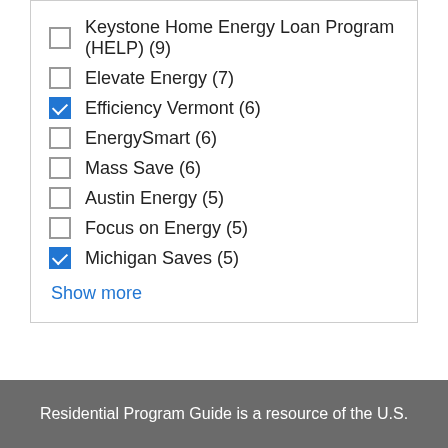Keystone Home Energy Loan Program (HELP) (9)
Elevate Energy (7)
Efficiency Vermont (6)
EnergySmart (6)
Mass Save (6)
Austin Energy (5)
Focus on Energy (5)
Michigan Saves (5)
Show more
Residential Program Guide is a resource of the U.S.